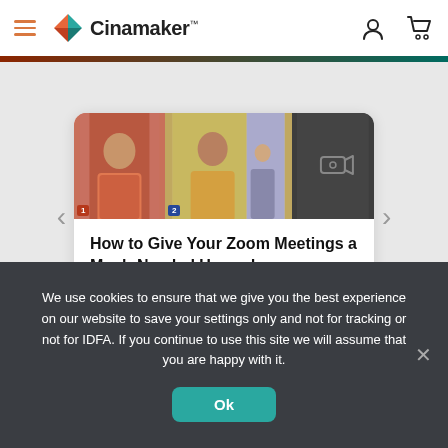[Figure (logo): Cinamaker logo with teal/orange diamond shape and brand name]
[Figure (screenshot): Zoom meeting screenshot showing three camera slots with two participants visible]
How to Give Your Zoom Meetings a Much-Needed Upgrade
Preview >
We use cookies to ensure that we give you the best experience on our website to save your settings only and not for tracking or not for IDFA. If you continue to use this site we will assume that you are happy with it.